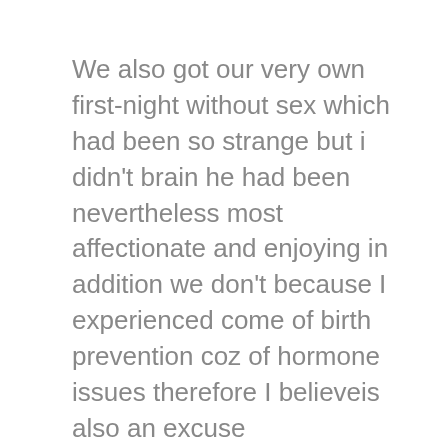We also got our very own first-night without sex which had been so strange but i didn't brain he had been nevertheless most affectionate and enjoying in addition we don't because I experienced come of birth prevention coz of hormone issues therefore I believeis also an excuse
Though I noticed the guy purchased a mobile and newer high priced products in their flats in which he purchased a fresh vehicles 30 days in the past also, video called myself showing it in my experience. The guy has a lot of luxurious automobiles by-the-way possibly 10. So we spoke about a whole lot by the sound of activities it appears as though he seems to see myself in his future